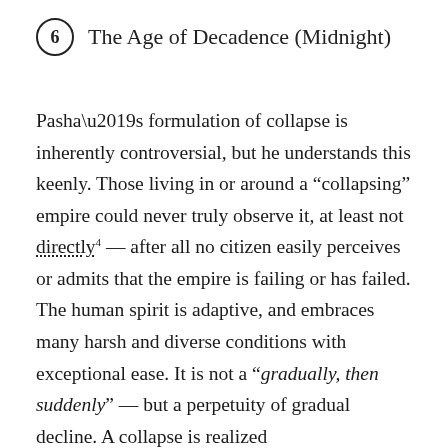6  The Age of Decadence (Midnight)
Pasha’s formulation of collapse is inherently controversial, but he understands this keenly. Those living in or around a “collapsing” empire could never truly observe it, at least not directly⁴ — after all no citizen easily perceives or admits that the empire is failing or has failed. The human spirit is adaptive, and embraces many harsh and diverse conditions with exceptional ease. It is not a “gradually, then suddenly” — but a perpetuity of gradual decline. A collapse is realized